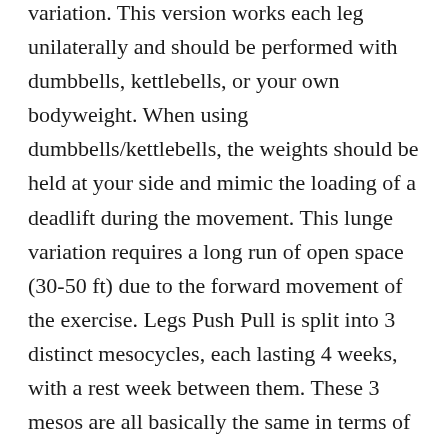variation. This version works each leg unilaterally and should be performed with dumbbells, kettlebells, or your own bodyweight. When using dumbbells/kettlebells, the weights should be held at your side and mimic the loading of a deadlift during the movement. This lunge variation requires a long run of open space (30-50 ft) due to the forward movement of the exercise. Legs Push Pull is split into 3 distinct mesocycles, each lasting 4 weeks, with a rest week between them. These 3 mesos are all basically the same in terms of overall programming, but the legs/push/pull order is shuffled each month.
We are going to start with two classic compound exercises here. In terms of weight, you can and should go quite heavy (in the 4-8 rep zone). See here for 2 gym